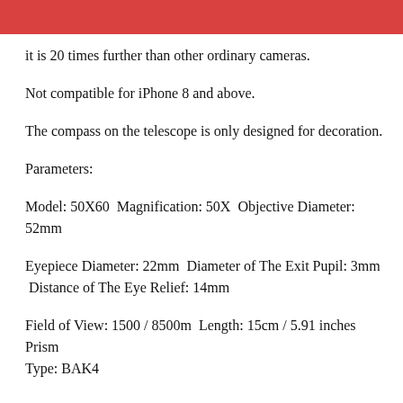it is 20 times further than other ordinary cameras.
Not compatible for iPhone 8 and above.
The compass on the telescope is only designed for decoration.
Parameters:
Model: 50X60  Magnification: 50X  Objective Diameter: 52mm
Eyepiece Diameter: 22mm  Diameter of The Exit Pupil: 3mm  Distance of The Eye Relief: 14mm
Field of View: 1500 / 8500m  Length: 15cm / 5.91 inches  Prism Type: BAK4